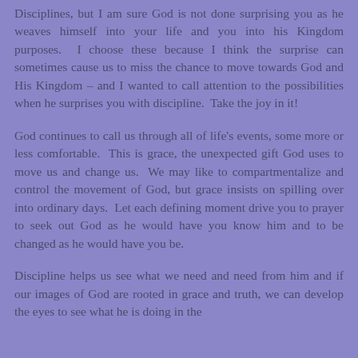Disciplines, but I am sure God is not done surprising you as he weaves himself into your life and you into his Kingdom purposes.  I choose these because I think the surprise can sometimes cause us to miss the chance to move towards God and His Kingdom – and I wanted to call attention to the possibilities when he surprises you with discipline.  Take the joy in it!
God continues to call us through all of life's events, some more or less comfortable.  This is grace, the unexpected gift God uses to move us and change us.  We may like to compartmentalize and control the movement of God, but grace insists on spilling over into ordinary days.  Let each defining moment drive you to prayer to seek out God as he would have you know him and to be changed as he would have you be.
Discipline helps us see what we need and need from him and if our images of God are rooted in grace and truth, we can develop the eyes to see what he is doing in the...